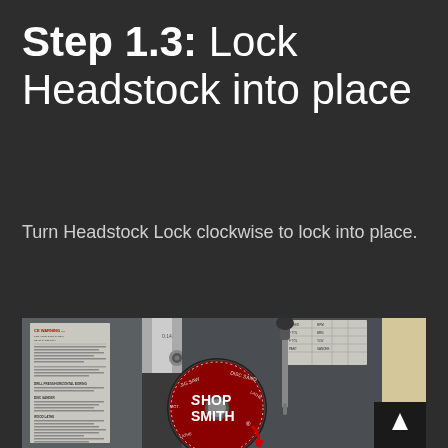Step 1.3: Lock Headstock into place
Turn Headstock Lock clockwise to lock into place.
[Figure (photo): Photo of a ShopSmith machine headstock showing a red circular dial with 'ShopSmith' branding, a lock mechanism, and a red arrow indicator pointing clockwise. The machine has a warning label and specifications chart visible on the left side.]